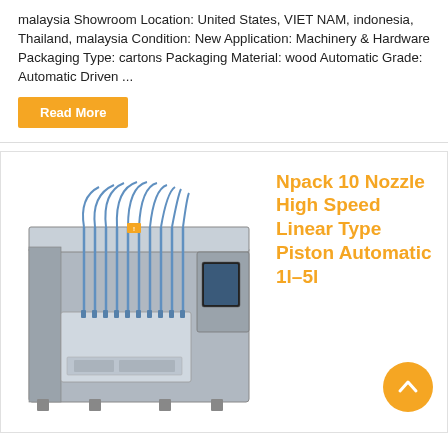malaysia Showroom Location: United States, VIET NAM, indonesia, Thailand, malaysia Condition: New Application: Machinery & Hardware Packaging Type: cartons Packaging Material: wood Automatic Grade: Automatic Driven ...
Read More
[Figure (photo): Industrial piston filling machine with multiple nozzles (Npack 10 Nozzle High Speed Linear Type Piston Automatic 1l-5l), stainless steel construction]
Npack 10 Nozzle High Speed Linear Type Piston Automatic 1l-5l